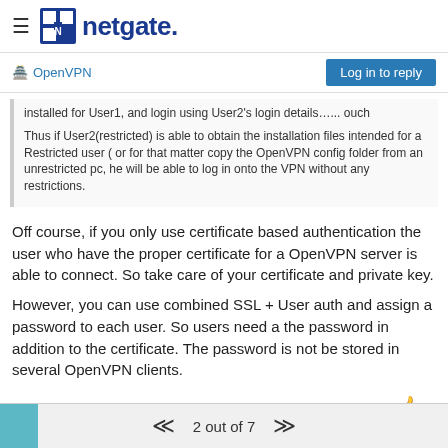netgate.
OpenVPN
installed for User1, and login using User2's login details…... ouch

Thus if User2(restricted) is able to obtain the installation files intended for a Restricted user ( or for that matter copy the OpenVPN config folder from an unrestricted pc, he will be able to log in onto the VPN without any restrictions.
Off course, if you only use certificate based authentication the user who have the proper certificate for a OpenVPN server is able to connect. So take care of your certificate and private key.
However, you can use combined SSL + User auth and assign a password to each user. So users need a the password in addition to the certificate. The password is not be stored in several OpenVPN clients.
2 out of 7